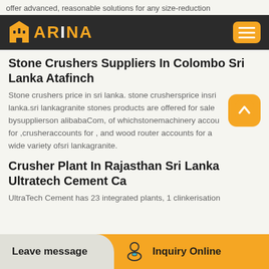offer advanced, reasonable solutions for any size-reduction
[Figure (logo): ARINA logo with building icon on dark navbar with hamburger menu button]
Stone Crushers Suppliers In Colombo Sri Lanka Atafinch
Stone crushers price in sri lanka. stone crushersprice insri lanka.sri lankagranite stones products are offered for sale bysupplierson alibabaCom, of whichstonemachinery accou for ,crusheraccounts for , and wood router accounts for a wide variety ofsri lankagranite.
Crusher Plant In Rajasthan Sri Lanka Ultratech Cement Ca
UltraTech Cement has 23 integrated plants, 1 clinkerisation
Leave message
Inquiry Online